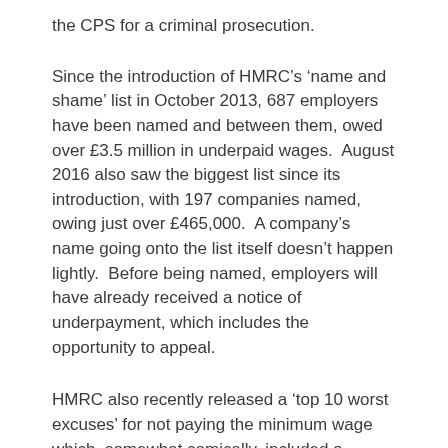the CPS for a criminal prosecution.
Since the introduction of HMRC’s ‘name and shame’ list in October 2013, 687 employers have been named and between them, owed over £3.5 million in underpaid wages.  August 2016 also saw the biggest list since its introduction, with 197 companies named, owing just over £465,000.  A company’s name going onto the list itself doesn’t happen lightly.  Before being named, employers will have already received a notice of underpayment, which includes the opportunity to appeal.
HMRC also recently released a ‘top 10 worst excuses’ for not paying the minimum wage which, somewhat comically, included a worker not deserving the minimum wage because she “only makes the teas and sweeps the floors”, an employer and his accountant speaking different language meaning the accountant doesn’t understand the correct wages, an employer thinking it was “okay” to pay foreign workers below the minimum wage rate because they aren’t British and shop workers